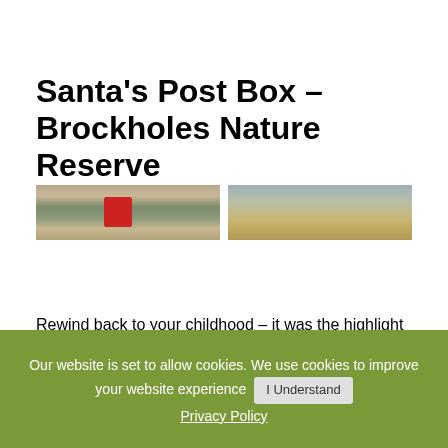Santa's Post Box – Brockholes Nature Reserve
[Figure (photo): Two side-by-side landscape photos: left shows a nature scene with a red post box among winter trees/vegetation; right shows a sky and landscape at dusk or dawn.]
Rewind back to your childhood – it was the highlight of the pre-Christmas period, flicking
Our website is set to allow cookies. We use cookies to improve your website experience   I Understand
Privacy Policy